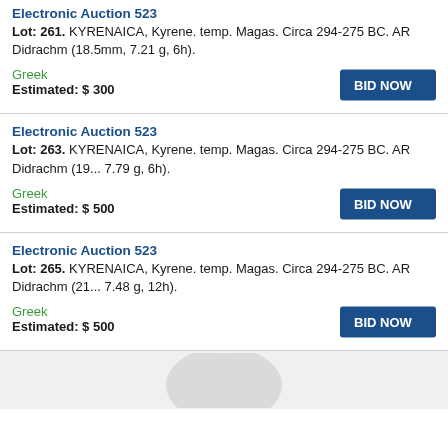Electronic Auction 523
Lot: 261. KYRENAICA, Kyrene. temp. Magas. Circa 294-275 BC. AR Didrachm (18.5mm, 7.21 g, 6h).
Greek
Estimated: $ 300
Electronic Auction 523
Lot: 263. KYRENAICA, Kyrene. temp. Magas. Circa 294-275 BC. AR Didrachm (19... 7.79 g, 6h).
Greek
Estimated: $ 500
Electronic Auction 523
Lot: 265. KYRENAICA, Kyrene. temp. Magas. Circa 294-275 BC. AR Didrachm (21... 7.48 g, 12h).
Greek
Estimated: $ 500
[Figure (other): Partial watermark/logo image at bottom of page]